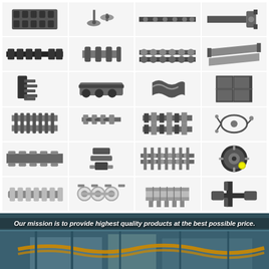[Figure (photo): Grid of industrial chain and sprocket product images arranged in 6 rows of 4 columns, showing various types of roller chains, conveyor chains, chain links, sprockets, and related mechanical components in black and metallic finishes]
[Figure (photo): Banner image showing industrial machinery/chain drive system with overlaid text: 'Our mission is to provide highest quality products at the best possible price.']